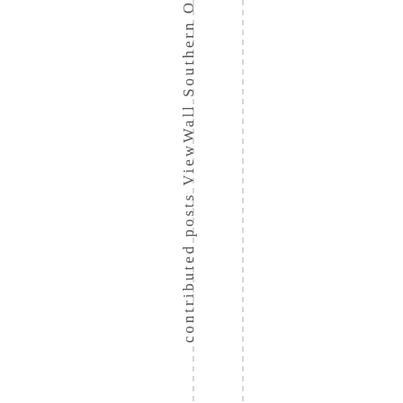contributed posts ViewWall Southern O